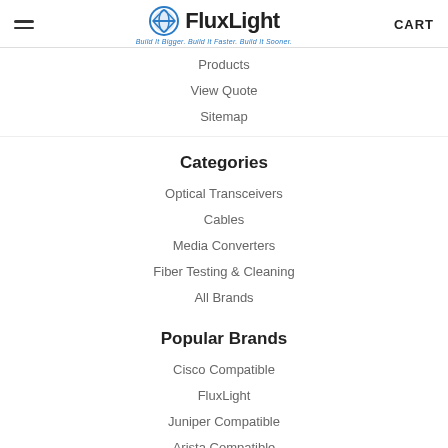FluxLight — Build It Bigger. Build It Faster. Build It Sooner. | CART
Products
View Quote
Sitemap
Categories
Optical Transceivers
Cables
Media Converters
Fiber Testing & Cleaning
All Brands
Popular Brands
Cisco Compatible
FluxLight
Juniper Compatible
Arista Compatible